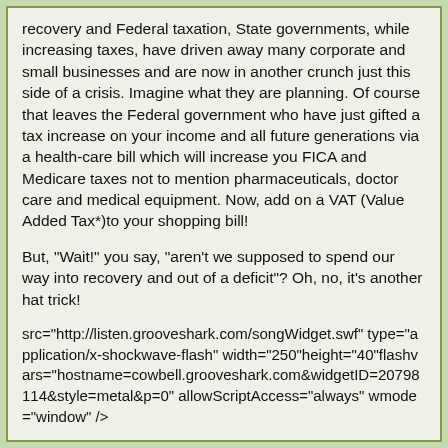recovery and Federal taxation, State governments, while increasing taxes, have driven away many corporate and small businesses and are now in another crunch just this side of a crisis. Imagine what they are planning. Of course that leaves the Federal government who have just gifted a tax increase on your income and all future generations via a health-care bill which will increase you FICA and Medicare taxes not to mention pharmaceuticals, doctor care and medical equipment. Now, add on a VAT (Value Added Tax*)to your shopping bill!
But, "Wait!" you say, "aren't we supposed to spend our way into recovery and out of a deficit"? Oh, no, it's another hat trick!
src="http://listen.grooveshark.com/songWidget.swf" type="application/x-shockwave-flash" width="250"height="40"flashvars="hostname=cowbell.grooveshark.com&widgetID=20798114&style=metal&p=0" allowScriptAccess="always" wmode="window" />
Happy Tea Party Day!